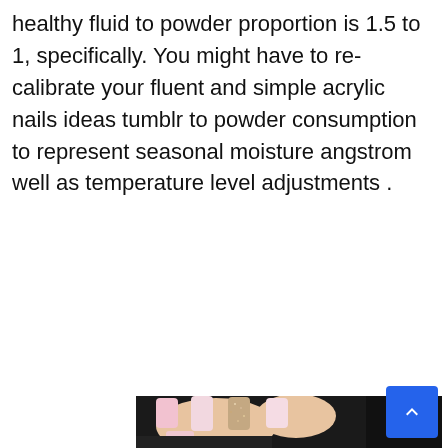healthy fluid to powder proportion is 1.5 to 1, specifically. You might have to re-calibrate your fluent and simple acrylic nails ideas tumblr to powder consumption to represent seasonal moisture angstrom well as temperature level adjustments .
[Figure (photo): Close-up photo of a hand with long coffin-shaped acrylic nails. The nails are a mix of light pink/nude and rose gold glitter. The hand is resting on dark leather material with a light knit fabric visible at the bottom.]